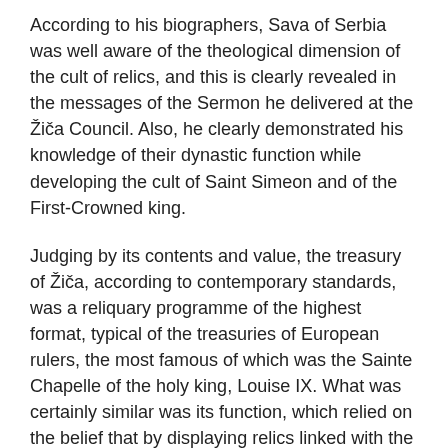According to his biographers, Sava of Serbia was well aware of the theological dimension of the cult of relics, and this is clearly revealed in the messages of the Sermon he delivered at the Žiča Council. Also, he clearly demonstrated his knowledge of their dynastic function while developing the cult of Saint Simeon and of the First-Crowned king.
Judging by its contents and value, the treasury of Žiča, according to contemporary standards, was a reliquary programme of the highest format, typical of the treasuries of European rulers, the most famous of which was the Sainte Chapelle of the holy king, Louise IX. What was certainly similar was its function, which relied on the belief that by displaying relics linked with the main protagonists of Biblical events, one could perform the symbolic translatio Hierosolymi rooted in the idea of the translatio imperii. This was the customary way in which many medieval dynasts laid sacral foundations for their